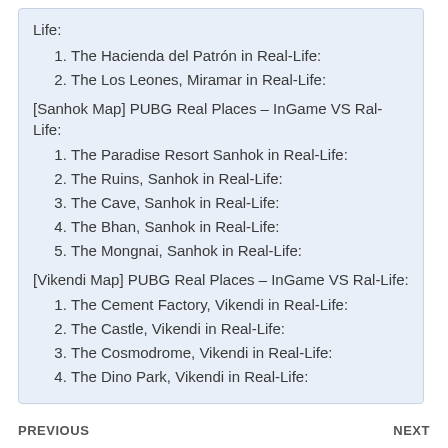Life:
1. The Hacienda del Patrón in Real-Life:
2. The Los Leones, Miramar in Real-Life:
[Sanhok Map] PUBG Real Places – InGame VS Ral-Life:
1. The Paradise Resort Sanhok in Real-Life:
2. The Ruins, Sanhok in Real-Life:
3. The Cave, Sanhok in Real-Life:
4. The Bhan, Sanhok in Real-Life:
5. The Mongnai, Sanhok in Real-Life:
[Vikendi Map] PUBG Real Places – InGame VS Ral-Life:
1. The Cement Factory, Vikendi in Real-Life:
2. The Castle, Vikendi in Real-Life:
3. The Cosmodrome, Vikendi in Real-Life:
4. The Dino Park, Vikendi in Real-Life:
PREVIOUS    NEXT